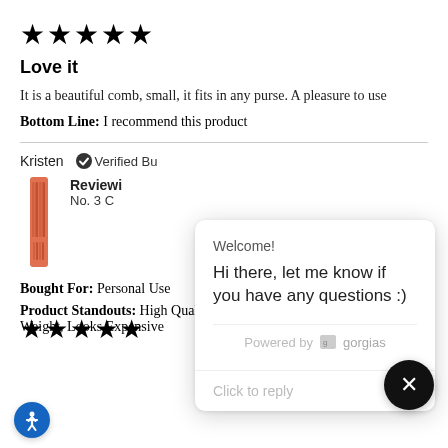[Figure (other): Five black stars rating]
Love it
It is a beautiful comb, small, it fits in any purse. A pleasure to use
Bottom Line: I recommend this product
Kristen  ✓ Verified Bu...
Reviewing: No. 3 C...
Bought For: Personal Use
Product Standouts: High Quality, Durable, Elegant, Good Weight, Looks Expensive
[Figure (screenshot): Chat popup overlay from Gorgias with welcome message: 'Welcome! Hi there, let me know if you have any questions :)' and 'Click to reply' input, 'Powered by gorgias']
[Figure (other): Five black stars rating at bottom of page]